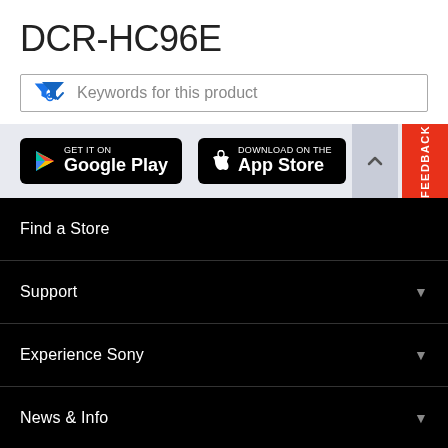DCR-HC96E
Keywords for this product
[Figure (screenshot): App store download buttons: GET IT ON Google Play and Download on the App Store, with scroll-up and FEEDBACK tab on the right]
Find a Store
Support
Experience Sony
News & Info